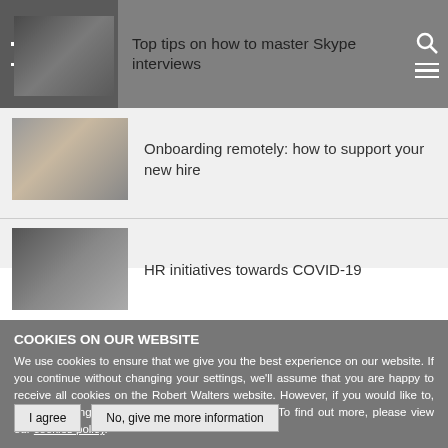ROBERT WALTERS
Top tips on how to master Skype interviews
[Figure (photo): Thumbnail image for Skype interviews article]
[Figure (photo): Thumbnail image for onboarding remotely article]
Onboarding remotely: how to support your new hire
[Figure (photo): Thumbnail image for HR initiatives article]
HR initiatives towards COVID-19
COOKIES ON OUR WEBSITE
We use cookies to ensure that we give you the best experience on our website. If you continue without changing your settings, we'll assume that you are happy to receive all cookies on the Robert Walters website. However, if you would like to, you can change your cookie settings at any time. To find out more, please view our cookies policy.